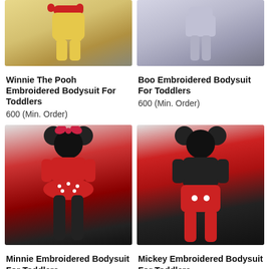[Figure (photo): Winnie The Pooh yellow embroidered toddler bodysuit costume, viewed from front/side]
[Figure (photo): Boo grey/lavender embroidered toddler bodysuit costume, viewed showing legs and body]
Winnie The Pooh Embroidered Bodysuit For Toddlers
600 (Min. Order)
Boo Embroidered Bodysuit For Toddlers
600 (Min. Order)
[Figure (photo): Minnie Mouse red embroidered bodysuit with ears and skirt for toddlers, back view]
[Figure (photo): Mickey Mouse black and red embroidered bodysuit with ears for toddlers, back view]
Minnie Embroidered Bodysuit For Toddlers
600 (Min. Order)
Mickey Embroidered Bodysuit For Toddlers
600 (Min. Order)